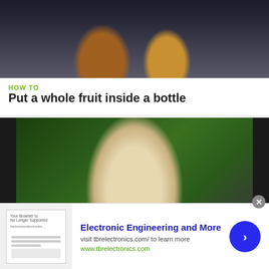[Figure (photo): Top portion of an image showing pears or fruit shapes against a dark background with blue container visible]
HOW TO
Put a whole fruit inside a bottle
[Figure (photo): A large pear-shaped fruit inside a glass bottle, surrounded by green foliage background, with dark edges on the sides]
HOW TO
[Figure (other): Advertisement banner for Electronic Engineering and More, with thumbnail image, title, description text, URL, and blue arrow CTA button]